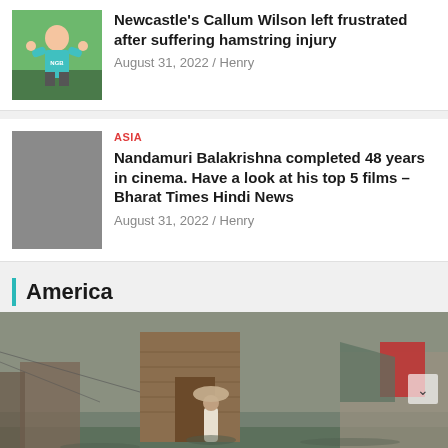[Figure (photo): Photo of a soccer player (Callum Wilson) in a teal/green jersey with hands raised]
Newcastle's Callum Wilson left frustrated after suffering hamstring injury
August 31, 2022 / Henry
ASIA
[Figure (photo): Gray placeholder image for Nandamuri Balakrishna article]
Nandamuri Balakrishna completed 48 years in cinema. Have a look at his top 5 films – Bharat Times Hindi News
August 31, 2022 / Henry
America
[Figure (photo): Photo of a person wading through flood waters carrying belongings on their head, with a brick building in the background]